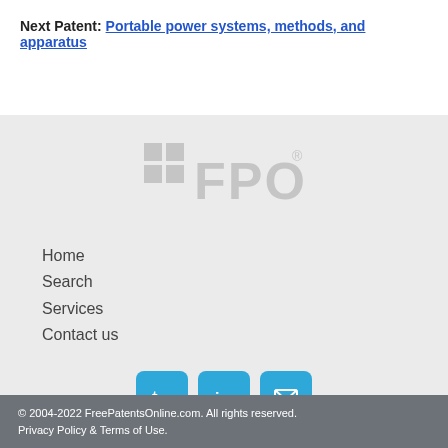Next Patent: Portable power systems, methods, and apparatus
[Figure (logo): FPO (Free Patents Online) logo in light gray]
Home
Search
Services
Contact us
[Figure (other): Social media icons: Twitter, LinkedIn, Email]
© 2004-2022 FreePatentsOnline.com. All rights reserved. Privacy Policy & Terms of Use.